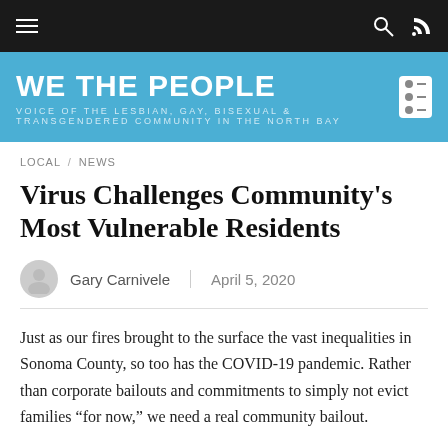WE THE PEOPLE — VOICE OF THE LESBIAN, GAY, BISEXUAL & TRANSGENDERED COMMUNITY IN THE NORTH BAY
LOCAL / NEWS
Virus Challenges Community’s Most Vulnerable Residents
Gary Carnivele | April 5, 2020
Just as our fires brought to the surface the vast inequalities in Sonoma County, so too has the COVID-19 pandemic. Rather than corporate bailouts and commitments to simply not evict families “for now,” we need a real community bailout.